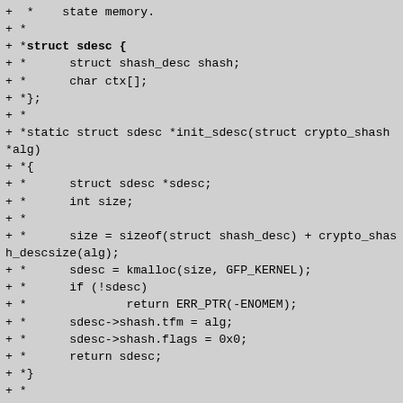+ *    state memory.
+ *
+ *struct sdesc {
+ *      struct shash_desc shash;
+ *      char ctx[];
+ *};
+ *
+ *static struct sdesc *init_sdesc(struct crypto_shash *alg)
+ *{
+ *      struct sdesc *sdesc;
+ *      int size;
+ *
+ *      size = sizeof(struct shash_desc) + crypto_shash_descsize(alg);
+ *      sdesc = kmalloc(size, GFP_KERNEL);
+ *      if (!sdesc)
+ *              return ERR_PTR(-ENOMEM);
+ *      sdesc->shash.tfm = alg;
+ *      sdesc->shash.flags = 0x0;
+ *      return sdesc;
+ *}
+ *
+ *static int calc_hash(struct crypto_shash *alg,
+ *                      const unsigned char